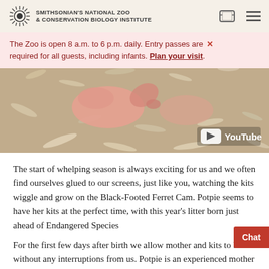SMITHSONIAN'S NATIONAL ZOO & CONSERVATION BIOLOGY INSTITUTE
[Figure (screenshot): Video thumbnail of newborn ferret kits in nesting material, with YouTube logo overlay in bottom right corner. The video shows close-up view of pink newborn kits on white shredded bedding.]
The Zoo is open 8 a.m. to 6 p.m. daily. Entry passes are required for all guests, including infants. Plan your visit.
The start of whelping season is always exciting for us and we often find ourselves glued to our screens, just like you, watching the kits wiggle and grow on the Black-Footed Ferret Cam. Potpie seems to have her kits at the perfect time, with this year's litter born just ahead of Endangered Species
For the first few days after birth we allow mother and kits to bond without any interruptions from us. Potpie is an experienced mother and it was clear from day one she is